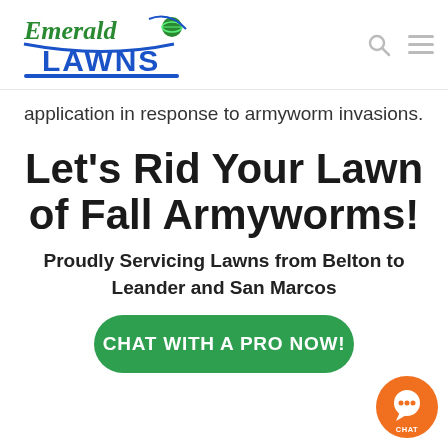[Figure (logo): Emerald Lawns logo — green cursive 'Emerald' text with blue bold 'LAWNS' and a green globe with orbit lines]
application in response to armyworm invasions.
Let's Rid Your Lawn of Fall Armyworms!
Proudly Servicing Lawns from Belton to Leander and San Marcos
[Figure (other): Green rounded button with white text: CHAT WITH A PRO NOW!]
[Figure (other): Orange circular chat widget icon with CHAT label in bottom right corner]